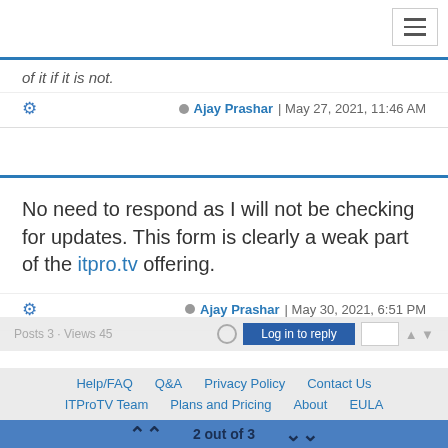of it if it is not.
Ajay Prashar | May 27, 2021, 11:46 AM
No need to respond as I will not be checking for updates. This form is clearly a weak part of the itpro.tv offering.
Ajay Prashar | May 30, 2021, 6:51 PM
Posts 3 · Views 45 | Log in to reply
Help/FAQ   Q&A   Privacy Policy   Contact Us
ITProTV Team   Plans and Pricing   About   EULA
2 out of 3